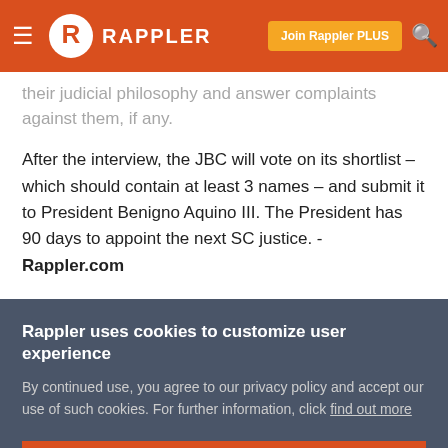RAPPLER
their judicial philosophy and answer complaints against them, if any.
After the interview, the JBC will vote on its shortlist – which should contain at least 3 names – and submit it to President Benigno Aquino III. The President has 90 days to appoint the next SC justice. - Rappler.com
Rappler uses cookies to customize user experience
By continued use, you agree to our privacy policy and accept our use of such cookies. For further information, click find out more
I ACCEPT